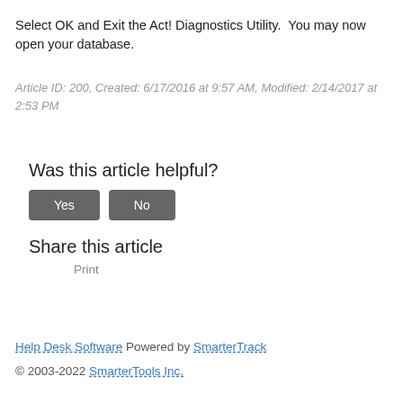Select OK and Exit the Act! Diagnostics Utility.  You may now open your database.
Article ID: 200, Created: 6/17/2016 at 9:57 AM, Modified: 2/14/2017 at 2:53 PM
Was this article helpful?
Yes   No
Share this article
Print
Help Desk Software Powered by SmarterTrack
© 2003-2022 SmarterTools Inc.